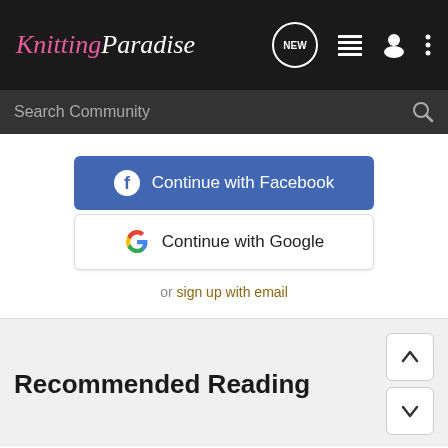Knitting Paradise
Search Community
Continue with Facebook
Continue with Google
or sign up with email
Recommended Reading
I am so lucky!!!!
Machine Knitting
11  1K